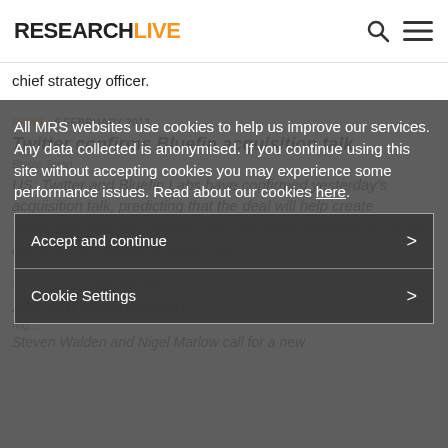RESEARCHLIVE
chief strategy officer.
NEWS  6 FEBRUARY 2013
Twitter confirms Bluefin acquisition talk
Blaize Toran
US: Twitter and Bluefin Labs have confirmed yesterday's acquisition talk, predicting that the deal will help create "innovative new ad products and consumer experiences in the exciting intersection of Twitter and TV".
FEATURE  5 FEBRUARY 2013
Are you experienced?
Nigel...
Steven Walden and Nigel Marlow call for a new
All MRS websites use cookies to help us improve our services. Any data collected is anonymised. If you continue using this site without accepting cookies you may experience some performance issues. Read about our cookies here.
Accept and continue
Cookie Settings